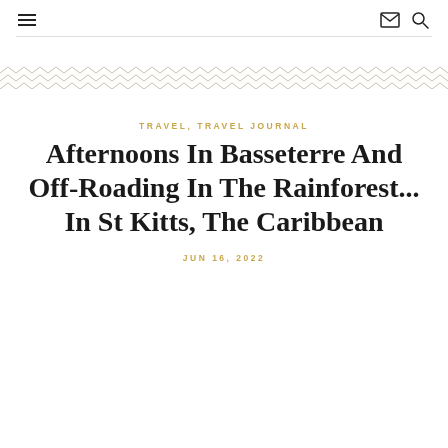≡  ✉ 🔍
TRAVEL, TRAVEL JOURNAL
Afternoons In Basseterre And Off-Roading In The Rainforest... In St Kitts, The Caribbean
JUN 16, 2022